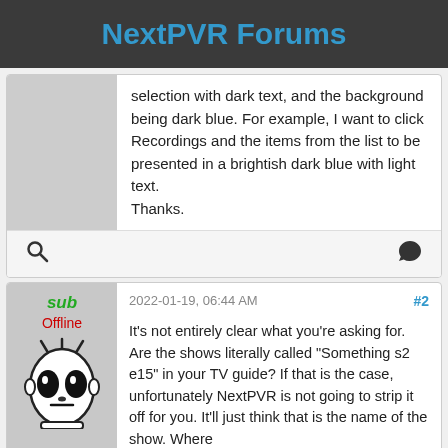NextPVR Forums
selection with dark text, and the background being dark blue. For example, I want to click Recordings and the items from the list to be presented in a brightish dark blue with light text.
Thanks.
2022-01-19, 06:44 AM   #2
sub
Offline
It's not entirely clear what you're asking for. Are the shows literally called "Something s2 e15" in your TV guide? If that is the case, unfortunately NextPVR is not going to strip it off for you. It'll just think that is the name of the show. Where